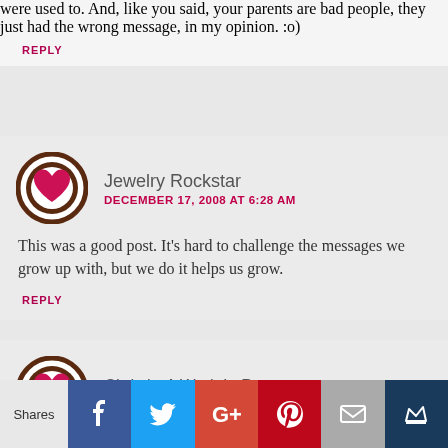were used to. And, like you said, your parents are bad people, they just had the wrong message, in my opinion. :o)
REPLY
Jewelry Rockstar
DECEMBER 17, 2008 AT 6:28 AM
This was a good post. It's hard to challenge the messages we grow up with, but we do it helps us grow.
REPLY
Christie-A Work In Progress
DECEMBER 17, 2008 AT 11:09 AM
Wow! What a fantastic post! I cant
Shares